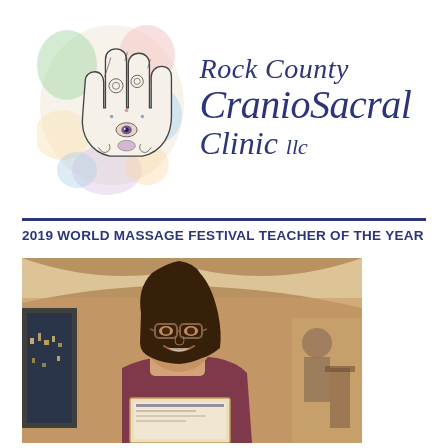[Figure (logo): Rock County CranioSacral Clinic llc logo with colorful watercolor hamsa hand symbol on the left and italic blue script text on the right reading 'Rock County CranioSacral Clinic llc']
2019 WORLD MASSAGE FESTIVAL TEACHER OF THE YEAR
[Figure (photo): A smiling woman with glasses and dark shoulder-length hair wearing a sleeveless maroon top, seated in what appears to be a restaurant or banquet hall, holding a certificate or award plaque. Background shows other patrons and warm ambient lighting.]